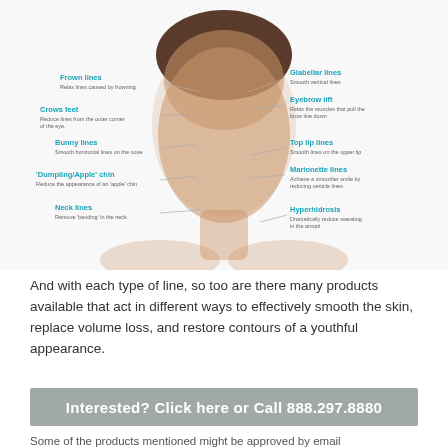[Figure (infographic): Annotated diagram of a woman's face showing areas of cosmetic treatment: Frown lines, Crows feet, Bunny lines, 'Dumpling/Apple' chin, Neck lines, Glabellar lines, Eyebrow lift, Top lip lines, Marionette lines, Hyperhidrosis]
And with each type of line, so too are there many products available that act in different ways to effectively smooth the skin, replace volume loss, and restore contours of a youthful appearance.
Interested? Click here or Call 888.297.8880
Some of the products mentioned might be approved by email